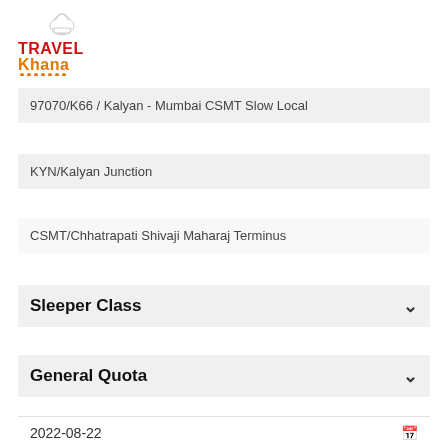[Figure (logo): TravelKhana logo with chef hat icon, TRAVEL in red bold text, Khana in orange bold text, with small orange dots beneath]
97070/K66 / Kalyan - Mumbai CSMT Slow Local
KYN/Kalyan Junction
CSMT/Chhatrapati Shivaji Maharaj Terminus
Sleeper Class
General Quota
2022-08-22